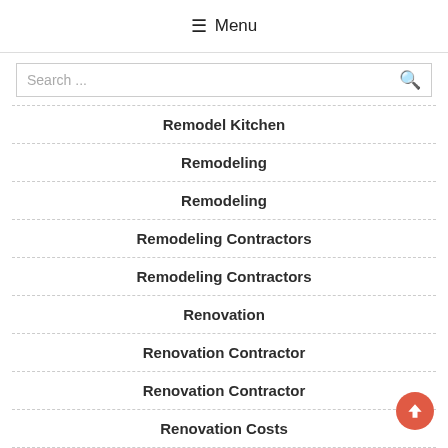☰ Menu
Remodel Kitchen
Remodeling
Remodeling
Remodeling Contractors
Remodeling Contractors
Renovation
Renovation Contractor
Renovation Contractor
Renovation Costs
Renovation Costs